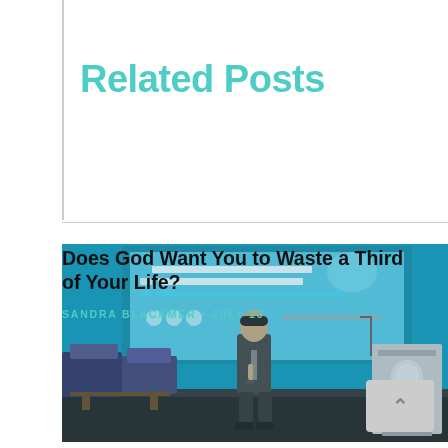Related Posts
[Figure (photo): A speaker in a dark suit standing on a conference stage, presenting in front of a large blue projection screen showing bullet points about sleep deprivation effects. A podium with a WHO-style logo is visible on the right side of the stage.]
Does God Want You to Waste a Third of Your Life?
SANDRA BLACKMER • JULY 13